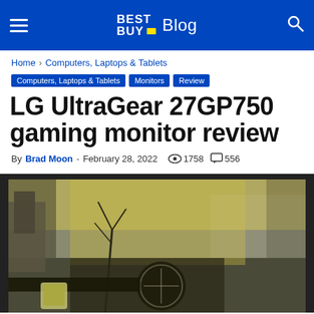BEST BUY Blog
Home › Computers, Laptops & Tablets
Computers, Laptops & Tablets | Monitors | Review
LG UltraGear 27GP750 gaming monitor review
By Brad Moon - February 28, 2022  👁 1758  💬 556
[Figure (photo): LG UltraGear 27GP750 gaming monitor displaying a first-person shooter game scene with post-apocalyptic environment]